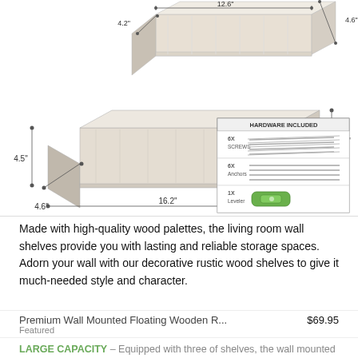[Figure (engineering-diagram): Technical dimension diagram of two floating wall shelves shown in 3D perspective view. Top shelf labeled with dimensions 12.6" wide and 4.2" depth. Bottom shelf labeled with dimensions 16.2" wide, 4.6" depth, and 4.5" height. A hardware included box in the bottom right shows: 6x Screws (with screw illustrations), 6x Anchors (with anchor illustrations), 1x Leveler (with green leveler illustration).]
Made with high-quality wood palettes, the living room wall shelves provide you with lasting and reliable storage spaces. Adorn your wall with our decorative rustic wood shelves to give it much-needed style and character.
Premium Wall Mounted Floating Wooden R...  $69.95
Featured
LARGE CAPACITY – Equipped with three of shelves, the wall mounted kitchen shelves can carry dozens of